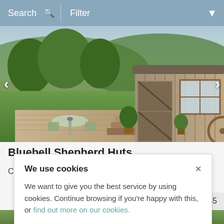Search   Filter
[Figure (photo): A rustic wooden shepherd hut with a stable door and window, situated on a timber deck with outdoor bistro table and chairs. Lush green hills and trees in the background. Navigation arrows on left and right sides.]
Bluebell Shepherd Huts
Crickhowell (2mls NE), Brecon Beacons
We use cookies

We want to give you the best service by using cookies. Continue browsing if you're happy with this, or find out more on our cookies.
3-£945